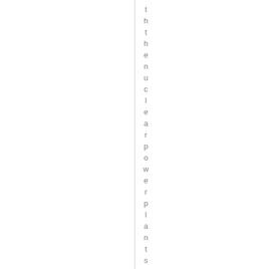t h t h e n u c l e a r p o w e r p l a n t s . "